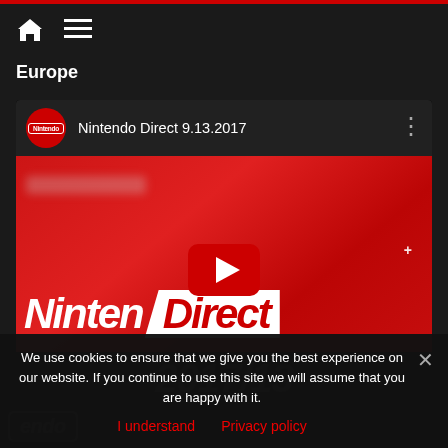Europe
[Figure (screenshot): YouTube video embed showing Nintendo Direct 9.13.2017 with Nintendo channel logo and three-dot menu. Thumbnail shows red Nintendo Direct branding with a YouTube play button overlay.]
We use cookies to ensure that we give you the best experience on our website. If you continue to use this site we will assume that you are happy with it.
I understand  Privacy policy